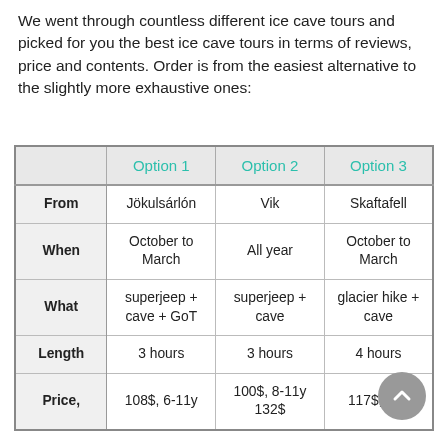We went through countless different ice cave tours and picked for you the best ice cave tours in terms of reviews, price and contents. Order is from the easiest alternative to the slightly more exhaustive ones:
|  | Option 1 | Option 2 | Option 3 |
| --- | --- | --- | --- |
| From | Jökulsárlón | Vik | Skaftafell |
| When | October to March | All year | October to March |
| What | superjeep + cave + GoT | superjeep + cave | glacier hike + cave |
| Length | 3 hours | 3 hours | 4 hours |
| Price, | 108$, 6-11y | 100$, 8-11y 132$ | 117$, 8y+ |